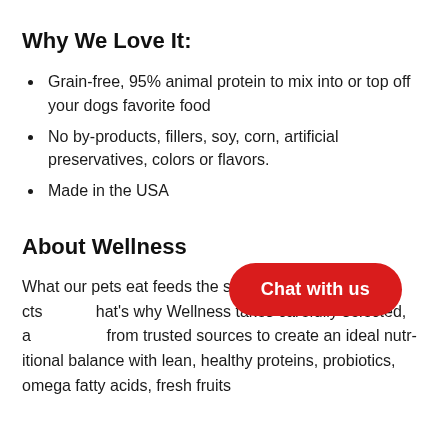Why We Love It:
Grain-free, 95% animal protein to mix into or top off your dogs favorite food
No by-products, fillers, soy, corn, artificial preservatives, colors or flavors.
Made in the USA
About Wellness
What our pets eat feeds the soul and prote... that's why Wellness takes carefully selected, a... from trusted sources to create an ideal nutritional balance with lean, healthy proteins, probiotics, omega fatty acids, fresh fruits
[Figure (other): Red rounded pill-shaped chat button with white text 'Chat with us']